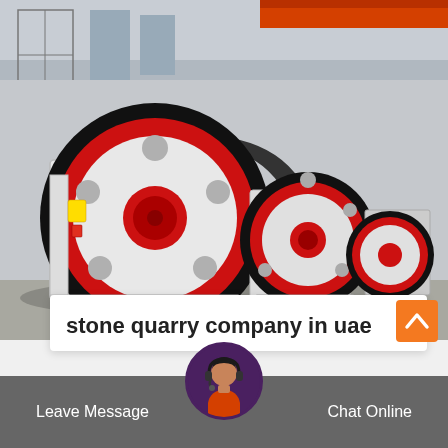[Figure (photo): Industrial jaw crushers with large red and black flywheels lined up in a factory/warehouse setting. Multiple units visible in perspective, white body with prominent circular flywheels trimmed in red and black.]
stone quarry company in uae
Leave Message
Chat Online